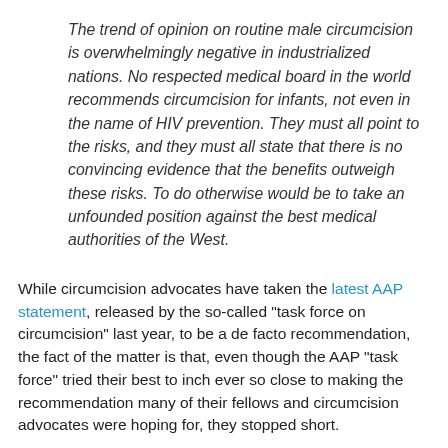The trend of opinion on routine male circumcision is overwhelmingly negative in industrialized nations. No respected medical board in the world recommends circumcision for infants, not even in the name of HIV prevention. They must all point to the risks, and they must all state that there is no convincing evidence that the benefits outweigh these risks. To do otherwise would be to take an unfounded position against the best medical authorities of the West.
While circumcision advocates have taken the latest AAP statement, released by the so-called "task force on circumcision" last year, to be a de facto recommendation, the fact of the matter is that, even though the AAP "task force" tried their best to inch ever so close to making the recommendation many of their fellows and circumcision advocates were hoping for, they stopped short.
Though they tried to get away with chanting the mantra that